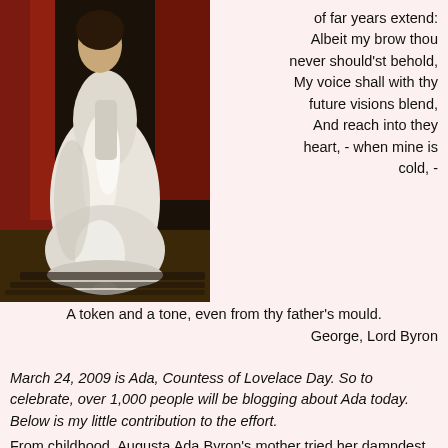[Figure (illustration): Portrait painting of a woman in a white dress with red drapery in the background]
of far years extend:
Albeit my brow thou
never should'st behold,
My voice shall with thy
future visions blend,
And reach into they
heart, - when mine is
cold, -
A token and a tone, even from thy father's mould.
George, Lord Byron
March 24, 2009 is Ada, Countess of Lovelace Day. So to celebrate, over 1,000 people will be blogging about Ada today. Below is my little contribution to the effort.
From childhood, Augusta Ada Byron's mother tried her damndest to make sure that her only child was nothing like her father, Lord Byron. Ada would be brought up to revere science, mathematics and reason. Any poetic impulses would